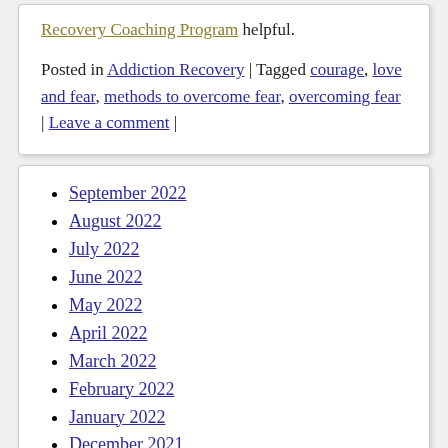Recovery Coaching Program helpful.
Posted in Addiction Recovery | Tagged courage, love and fear, methods to overcome fear, overcoming fear | Leave a comment |
September 2022
August 2022
July 2022
June 2022
May 2022
April 2022
March 2022
February 2022
January 2022
December 2021
November 2021
October 2021
September 2021